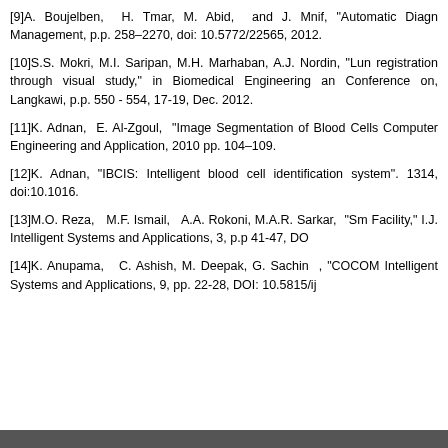[9]A. Boujelben, H. Tmar, M. Abid, and J. Mnif, "Automatic Diagn... Management, p.p. 258–2270, doi: 10.5772/22565, 2012.
[10]S.S. Mokri, M.I. Saripan, M.H. Marhaban, A.J. Nordin, "Lun... registration through visual study," in Biomedical Engineering an... Conference on, Langkawi, p.p. 550 - 554, 17-19, Dec. 2012.
[11]K. Adnan, E. Al-Zgoul, "Image Segmentation of Blood Cells... Computer Engineering and Application, 2010 pp. 104–109.
[12]K. Adnan, "IBCIS: Intelligent blood cell identification system"... 1314, doi:10.1016.
[13]M.O. Reza, M.F. Ismail, A.A. Rokoni, M.A.R. Sarkar, "Sm... Facility," I.J. Intelligent Systems and Applications, 3, p.p 41-47, DO...
[14]K. Anupama, C. Ashish, M. Deepak, G. Sachin , "COCOM... Intelligent Systems and Applications, 9, pp. 22-28, DOI: 10.5815/ij...